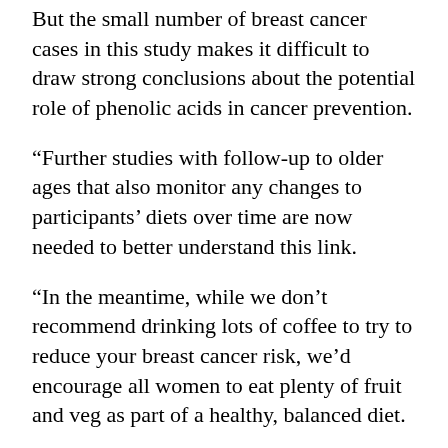But the small number of breast cancer cases in this study makes it difficult to draw strong conclusions about the potential role of phenolic acids in cancer prevention.
“Further studies with follow-up to older ages that also monitor any changes to participants’ diets over time are now needed to better understand this link.
“In the meantime, while we don’t recommend drinking lots of coffee to try to reduce your breast cancer risk, we’d encourage all women to eat plenty of fruit and veg as part of a healthy, balanced diet.
“By taking steps to maintain a healthy weight, drink less alcohol and keep physically active, all women can help keep their risk of breast cancer as low as possible.”
Susannah Brown, acting head of research interpretation at the World Cancer Research Fund, said: “This is an interesting study that further confirms the importance of consuming a diet high in fruit and vegetables for…